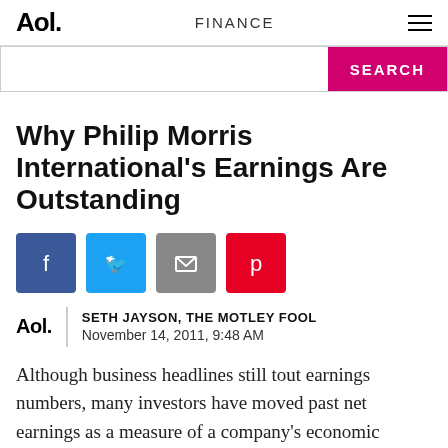Aol. FINANCE
Why Philip Morris International's Earnings Are Outstanding
[Figure (other): Social sharing buttons: Facebook, Twitter, Email, Pinterest]
SETH JAYSON, THE MOTLEY FOOL
November 14, 2011, 9:48 AM
Although business headlines still tout earnings numbers, many investors have moved past net earnings as a measure of a company's economic output. That's